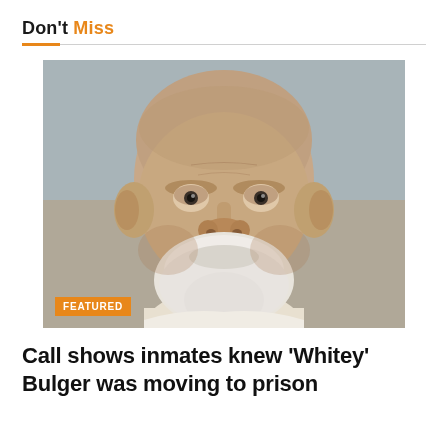Don't Miss
[Figure (photo): Mugshot-style photo of an elderly bald man with white beard, wearing a white shirt, against a grey-blue background. A featured badge overlay is shown at bottom left.]
Call shows inmates knew 'Whitey' Bulger was moving to prison